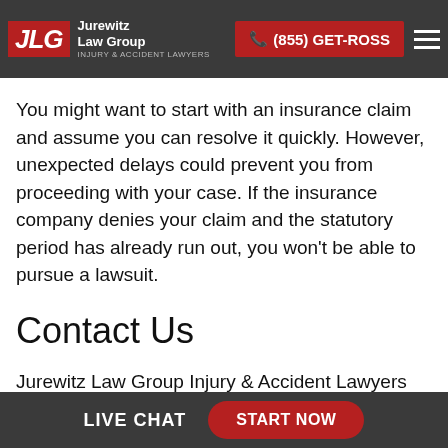Jurewitz Law Group Injury & Accident Lawyers | (855) GET-ROSS
It’s critical to hire Jurewitz Law Group Injury & Accident Lawyers immediately after the accident. You might want to start with an insurance claim and assume you can resolve it quickly. However, unexpected delays could prevent you from proceeding with your case. If the insurance company denies your claim and the statutory period has already run out, you won’t be able to pursue a lawsuit.
Contact Us
Jurewitz Law Group Injury & Accident Lawyers proudly represent injured clients in Bakersfield. We have fought for accident victims since 2007 and are ready to do the same for you. Let us be the advocate you need to get through
LIVE CHAT   START NOW